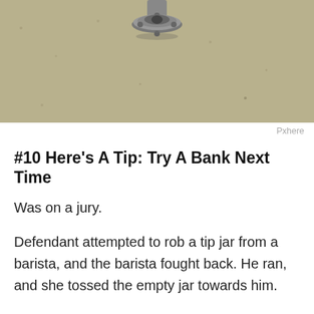[Figure (photo): Close-up photo of a metal pipe flange or fitting mounted on a textured beige stucco wall, viewed from above.]
Pxhere
#10 Here's A Tip: Try A Bank Next Time
Was on a jury.
Defendant attempted to rob a tip jar from a barista, and the barista fought back. He ran, and she tossed the empty jar towards him.